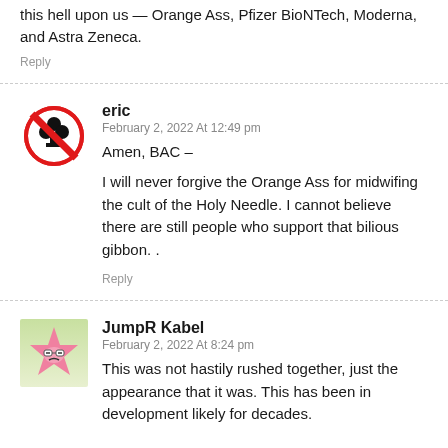this hell upon us — Orange Ass, Pfizer BioNTech, Moderna, and Astra Zeneca.
Reply
[Figure (illustration): Red circle with a line through a black clover/club symbol — avatar icon for user eric]
eric
February 2, 2022 At 12:49 pm
Amen, BAC –

I will never forgive the Orange Ass for midwifing the cult of the Holy Needle. I cannot believe there are still people who support that bilious gibbon. .
Reply
[Figure (illustration): Cartoon pink star-shaped character with glasses and grumpy face on green/white background — avatar for JumpR Kabel]
JumpR Kabel
February 2, 2022 At 8:24 pm
This was not hastily rushed together, just the appearance that it was. This has been in development likely for decades.